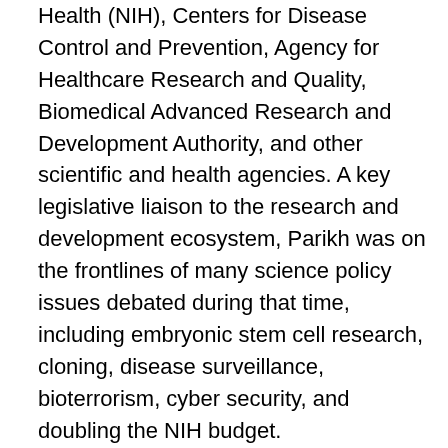Health (NIH), Centers for Disease Control and Prevention, Agency for Healthcare Research and Quality, Biomedical Advanced Research and Development Authority, and other scientific and health agencies. A key legislative liaison to the research and development ecosystem, Parikh was on the frontlines of many science policy issues debated during that time, including embryonic stem cell research, cloning, disease surveillance, bioterrorism, cyber security, and doubling the NIH budget.
An active member of the scientific advocacy community, Parikh serves as a board member and officer for several impactful organizations, including Research!America, Friends of Cancer Research, and ACT for NIH.  He has received multiple public service awards, including recognition from the American